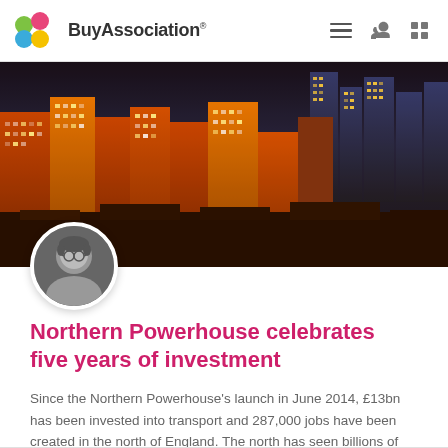BuyAssociation
[Figure (photo): Aerial night view of a northern England city skyline with illuminated high-rise buildings in orange, red, and yellow tones against a dark blue sky]
[Figure (photo): Circular avatar portrait of a woman with glasses, black and white photo]
Northern Powerhouse celebrates five years of investment
Since the Northern Powerhouse's launch in June 2014, £13bn has been invested into transport and 287,000 jobs have been created in the north of England. The north has seen billions of pounds worth of economic